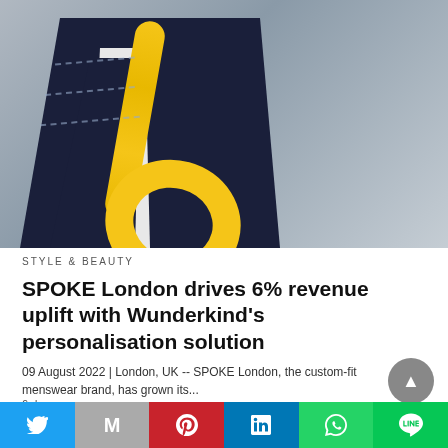[Figure (photo): Close-up of a dark navy suit jacket with white shirt collar and a yellow tape measure draped over the lapel, against a grey background.]
STYLE & BEAUTY
SPOKE London drives 6% revenue uplift with Wunderkind's personalisation solution
09 August 2022 | London, UK -- SPOKE London, the custom-fit menswear brand, has grown its...
6 days ago